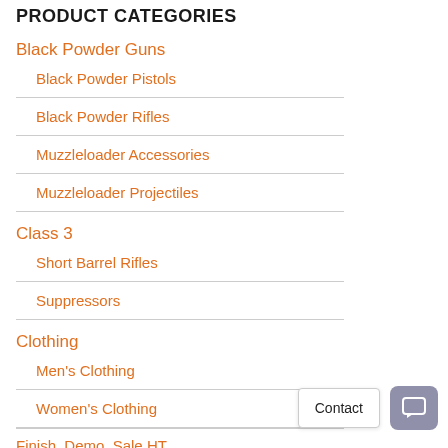PRODUCT CATEGORIES
Black Powder Guns
Black Powder Pistols
Black Powder Rifles
Muzzleloader Accessories
Muzzleloader Projectiles
Class 3
Short Barrel Rifles
Suppressors
Clothing
Men's Clothing
Women's Clothing
Finish, Demo, Sale HT